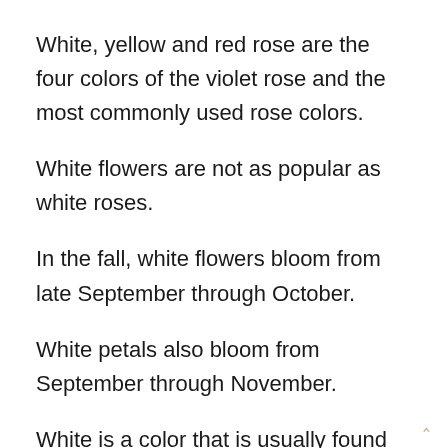White, yellow and red rose are the four colors of the violet rose and the most commonly used rose colors.
White flowers are not as popular as white roses.
In the fall, white flowers bloom from late September through October.
White petals also bloom from September through November.
White is a color that is usually found on rose petales and on the petal surfaces o.